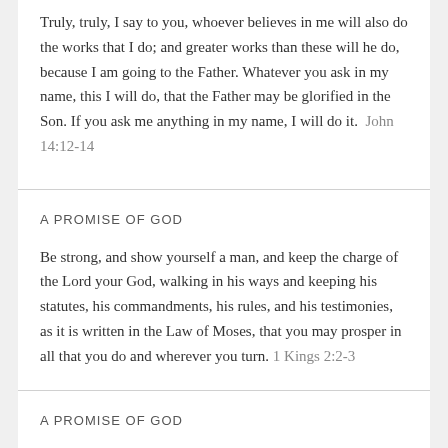Truly, truly, I say to you, whoever believes in me will also do the works that I do; and greater works than these will he do, because I am going to the Father. Whatever you ask in my name, this I will do, that the Father may be glorified in the Son. If you ask me anything in my name, I will do it.  John 14:12-14
A PROMISE OF GOD
Be strong, and show yourself a man, and keep the charge of the Lord your God, walking in his ways and keeping his statutes, his commandments, his rules, and his testimonies, as it is written in the Law of Moses, that you may prosper in all that you do and wherever you turn. 1 Kings 2:2-3
A PROMISE OF GOD
Come to me, all you who are weary and burdened, and I will give you